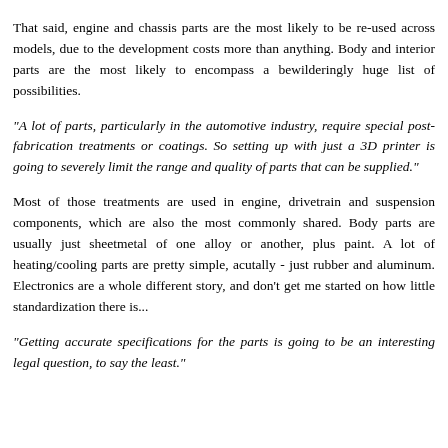performance across the industry, so systems like cooling and accessories require more model-specific alterations.
That said, engine and chassis parts are the most likely to be re-used across models, due to the development costs more than anything. Body and interior parts are the most likely to encompass a bewilderingly huge list of possibilities.
"A lot of parts, particularly in the automotive industry, require special post-fabrication treatments or coatings. So setting up with just a 3D printer is going to severely limit the range and quality of parts that can be supplied."
Most of those treatments are used in engine, drivetrain and suspension components, which are also the most commonly shared. Body parts are usually just sheetmetal of one alloy or another, plus paint. A lot of heating/cooling parts are pretty simple, acutally - just rubber and aluminum. Electronics are a whole different story, and don't get me started on how little standardization there is...
"Getting accurate specifications for the parts is going to be an interesting legal question, to say the least."